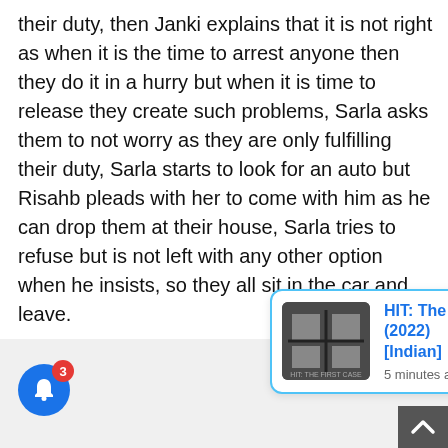their duty, then Janki explains that it is not right as when it is the time to arrest anyone then they do it in a hurry but when it is time to release they create such problems, Sarla asks them to not worry as they are only fulfilling their duty, Sarla starts to look for an auto but Risahb pleads with her to come with him as he can drop them at their house, Sarla tries to refuse but is not left with any other option when he insists, so they all sit in the car and leave.
[Figure (screenshot): Notification card for 'HIT: The First Case (2022) [Indian]' posted 5 minutes ago, with a movie poster thumbnail, blue border, and a close (X) button. A blue bell icon with red badge showing '3' is in the bottom left. A dark scroll-to-top button is in the bottom right.]